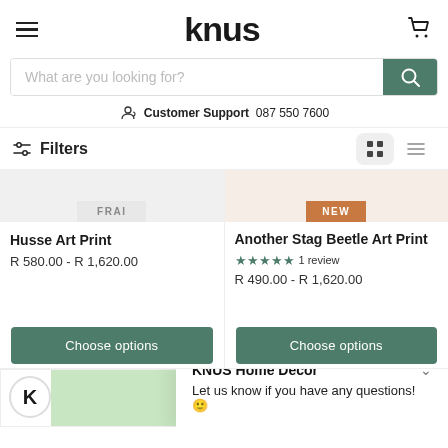KNUS
What are you looking for?
Customer Support  087 550 7600
Filters
Husse Art Print
R 580.00 - R 1,620.00
Another Stag Beetle Art Print
★★★★★ 1 review
R 490.00 - R 1,620.00
KNUS Home Decor
Let us know if you have any questions! 😊